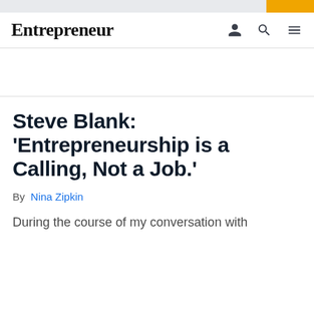Entrepreneur
Steve Blank: 'Entrepreneurship is a Calling, Not a Job.'
By Nina Zipkin
During the course of my conversation with